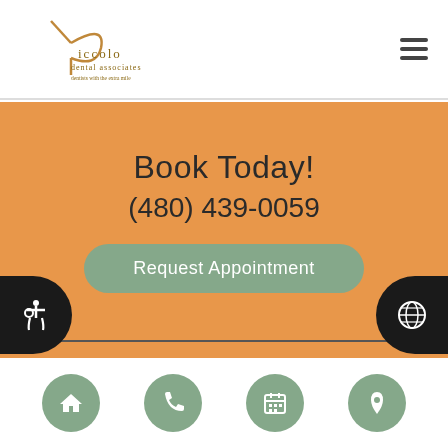[Figure (logo): Piccolo Dental Associates logo with stylized P letter mark in orange/tan colors]
Book Today!
(480) 439-0059
Request Appointment
Comments or Suggestions?
Contact Us